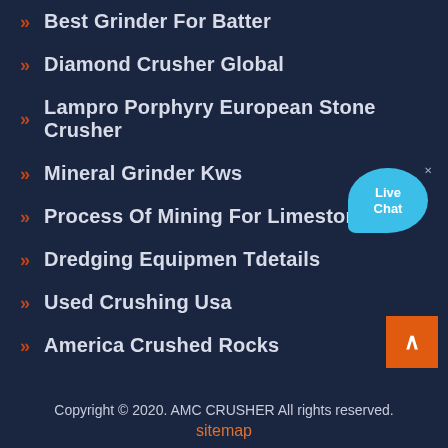Best Grinder For Batter
Diamond Crusher Global
Lampro Porphyry European Stone Crusher
Mineral Grinder Kws
Process Of Mining For Limestone
Dredging Equipmen Tdetails
Used Crushing Usa
America Crushed Rocks
[Figure (illustration): Live Chat button bubble in cyan/blue color with white text 'Live Chat' and a close X button]
[Figure (illustration): Back to top orange square button with white upward arrow]
Copyright © 2020. AMC CRUSHER All rights reserved.
sitemap